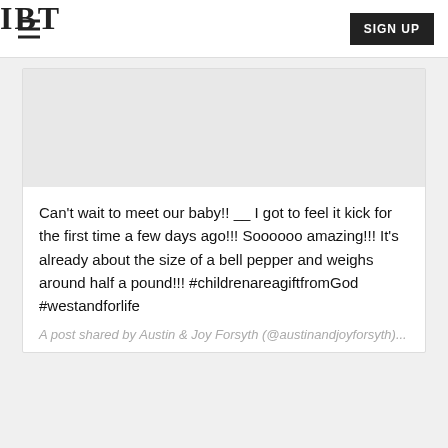IBT
[Figure (other): Embedded social media post image placeholder (gray rectangle)]
Can't wait to meet our baby!! __ I got to feel it kick for the first time a few days ago!!! Soooooo amazing!!! It's already about the size of a bell pepper and weighs around half a pound!!! #childrenareagiftfromGod #westandforlife
A post shared by Austin & Joy Forsyth (@austinandjoyforsyth)...